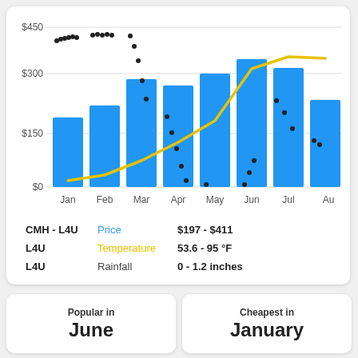[Figure (bar-chart): CMH-L4U flight price and weather by month]
CMH - L4U  Price  $197 - $411
L4U  Temperature  53.6 - 95 °F
L4U  Rainfall  0 - 1.2 inches
Popular in
June
Cheapest in
January